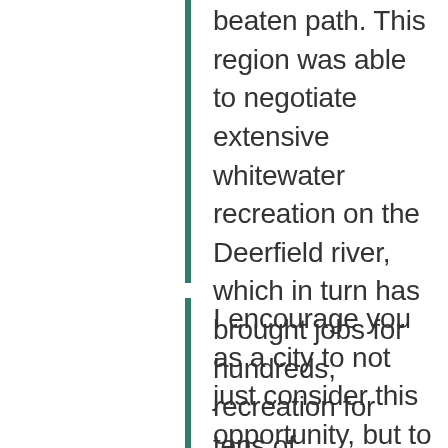beaten path. This region was able to negotiate extensive whitewater recreation on the Deerfield river, which in turn has brought jobs for hundreds, recreation for tens of thousands, and a solidarity amongst the residents.
I encourage you as a city to not just consider this opportunity, but to wholeheartedly pursue it.